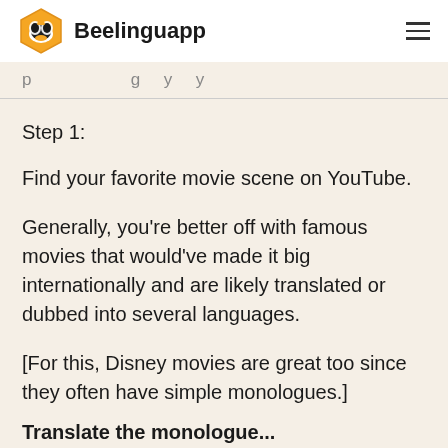Beelinguapp
[partial faded text at top — cut off]
Step 1:
Find your favorite movie scene on YouTube.
Generally, you're better off with famous movies that would've made it big internationally and are likely translated or dubbed into several languages.
[For this, Disney movies are great too since they often have simple monologues.]
Translate the monologue... [cut off at bottom]